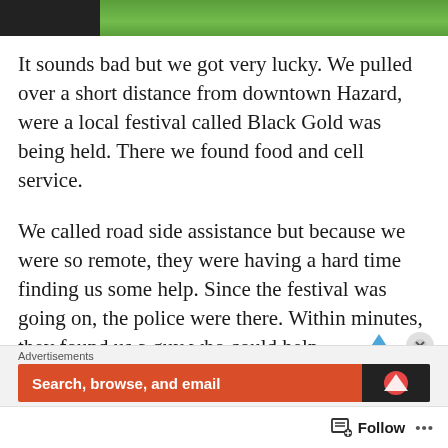[Figure (photo): Partial photo strip showing people at top of page, cropped green background visible]
It sounds bad but we got very lucky. We pulled over a short distance from downtown Hazard, were a local festival called Black Gold was being held. There we found food and cell service.
We called road side assistance but because we were so remote, they were having a hard time finding us some help. Since the festival was going on, the police were there. Within minutes, they found us a guy who could help.
He managed to get the tire off (what was left of it) when we learned that our spare tire
Advertisements
[Figure (screenshot): Advertisement banner: Search, browse, and email — dark background with orange and black sections]
Follow ...